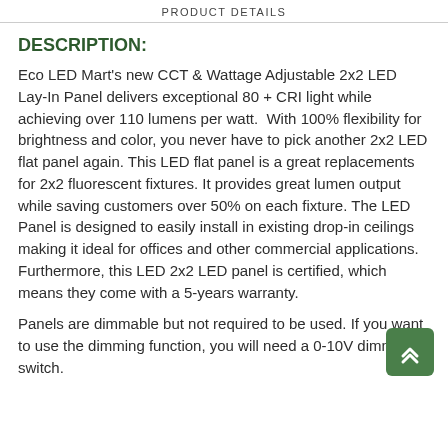PRODUCT DETAILS
DESCRIPTION:
Eco LED Mart's new CCT & Wattage Adjustable 2x2 LED Lay-In Panel delivers exceptional 80 + CRI light while achieving over 110 lumens per watt.  With 100% flexibility for brightness and color, you never have to pick another 2x2 LED flat panel again. This LED flat panel is a great replacements for 2x2 fluorescent fixtures. It provides great lumen output while saving customers over 50% on each fixture. The LED Panel is designed to easily install in existing drop-in ceilings making it ideal for offices and other commercial applications. Furthermore, this LED 2x2 LED panel is certified, which means they come with a 5-years warranty.
Panels are dimmable but not required to be used. If you want to use the dimming function, you will need a 0-10V dimming switch.